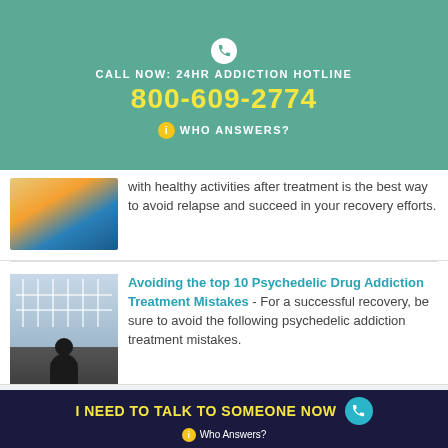CALL NOW: 24HR ADDICTION HOTLINE 800-609-2774 WHO ANSWERS?
with healthy activities after treatment is the best way to avoid relapse and succeed in your recovery efforts.
Avoiding the top 10 Psychedelic Drug Addiction Treatment Mistakes - For a successful recovery, be sure to avoid the following psychedelic addiction treatment mistakes.
Psychedelics | Terms of Use | Privacy Policy | Sitemap
I NEED TO TALK TO SOMEONE NOW Who Answers?